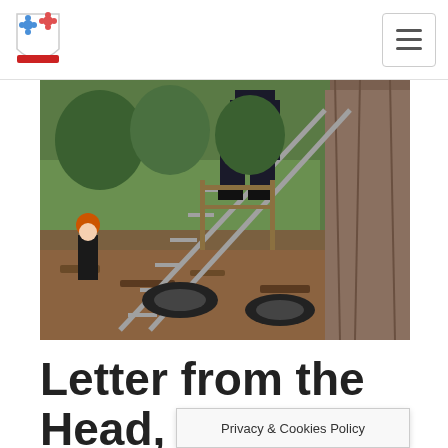School logo and navigation menu
[Figure (photo): Outdoor adventure/climbing activity at a school. A child wearing an orange helmet stands in the background on a wood-chip surface. In the foreground, a ladder leans against a large wooden post/tree, and a person in dark clothing is climbing it. Black tyres are embedded in the ground as obstacles.]
Letter from the Head, 14th December
Privacy & Cookies Policy